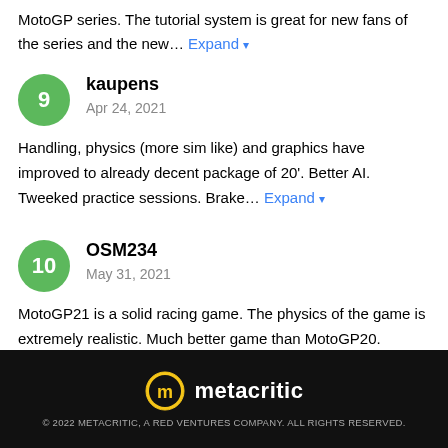MotoGP series. The tutorial system is great for new fans of the series and the new… Expand
kaupens
Apr 24, 2021
Handling, physics (more sim like) and graphics have improved to already decent package of 20'. Better AI. Tweeked practice sessions. Brake… Expand
OSM234
May 31, 2021
MotoGP21 is a solid racing game. The physics of the game is extremely realistic. Much better game than MotoGP20.
metacritic
© 2022 METACRITIC, A RED VENTURES COMPANY. ALL RIGHTS RESERVED.